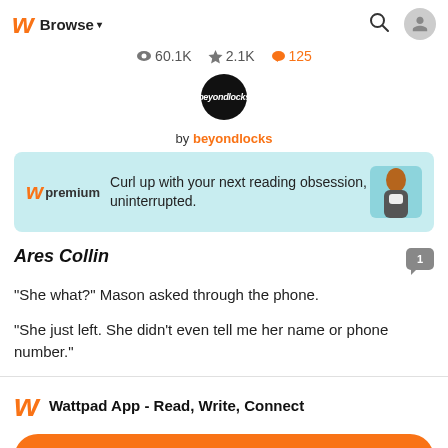Browse ▾  🔍  [user icon]
👁 60.1K  ★ 2.1K  💬 125
[Figure (illustration): Circular author avatar with dark background and 'beyondlocks' script text]
by beyondlocks
[Figure (infographic): Wattpad premium banner ad: light teal background with Wattpad logo, 'premium' text, 'Curl up with your next reading obsession, uninterrupted.' and woman with phone on right]
Ares Collin
"She what?" Mason asked through the phone.
"She just left. She didn't even tell me her name or phone number."
Wattpad App - Read, Write, Connect
Start Reading
Log in with Browser